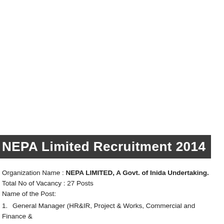NEPA Limited Recruitment 2014
Organization Name : NEPA LIMITED, A Govt. of Inida Undertaking.
Total No of Vacancy : 27 Posts
Name of the Post:
General Manager (HR&IR, Project & Works, Commercial and Finance & Accounts) : 04 Posts